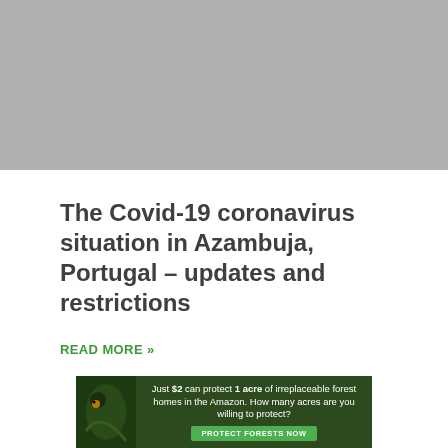[Figure (photo): Gray/silver hero image placeholder at the top of the page]
The Covid-19 coronavirus situation in Azambuja, Portugal – updates and restrictions
READ MORE »
[Figure (infographic): Advertisement banner: 'Just $2 can protect 1 acre of irreplaceable forest homes in the Amazon. How many acres are you willing to protect?' with a green PROTECT FORESTS NOW button and forest/bird imagery]